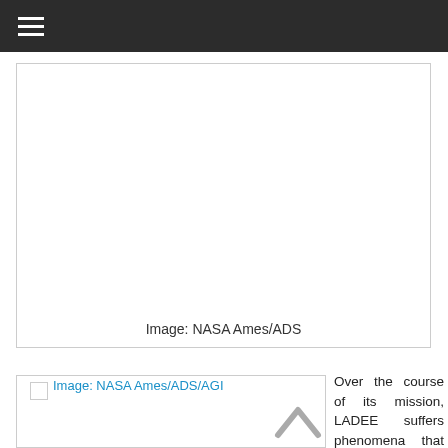≡
[Figure (photo): Large image placeholder with caption 'Image: NASA Ames/ADS']
Image: NASA Ames/ADS
[Figure (photo): Image placeholder labeled 'Image: NASA Ames/ADS/AGI']
Over the course of its mission, LADEE suffers phenomena that are typical for low-inclination lunar orbits